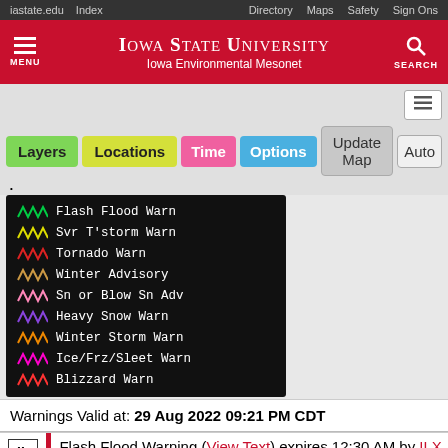iastate.edu  Index  Directory  Maps  Safety  Sign Ons
IOWA STATE UNIVERSITY
Iowa Environmental Mesonet
[Figure (screenshot): Iowa Environmental Mesonet toolbar with Layers, Locations, Time, Options, Update Map, Auto buttons]
[Figure (infographic): Legend box on black background showing weather warning types: Flash Flood Warn (green squiggle), Svr T'storm Warn (yellow squiggle), Tornado Warn (red squiggle), Winter Advisory (tan squiggle), Sn or Blow Sn Adv (pink squiggle), Heavy Snow Warn (purple squiggle), Winter Storm Warn (orange squiggle), Ice/Frz/Sleet Warn (hot pink squiggle), Blizzard Warn (red squiggle)]
Warnings Valid at: 29 Aug 2022 09:21 PM CDT
IL  Flash Flood Warning (View Text) expires 12:30 AM by ILX (37)
Morgan, Sangamon, in IL